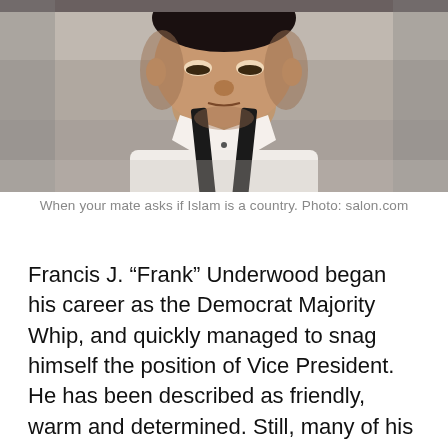[Figure (photo): A man in a white dress shirt with black suspenders, photographed from the chest up, looking downward toward the camera with a serious expression. The background is blurred and neutral.]
When your mate asks if Islam is a country. Photo: salon.com
Francis J. “Frank” Underwood began his career as the Democrat Majority Whip, and quickly managed to snag himself the position of Vice President. He has been described as friendly, warm and determined. Still, many of his opponents have criticized his “psychotic” episodes, when he turns to the side and talks to no one, often discussing his innermost thoughts and plans, a trait many claim will be detrimental to foreign policy. “Imagine if, when in the middle of a negotiation with Putin, he just turned to his side and